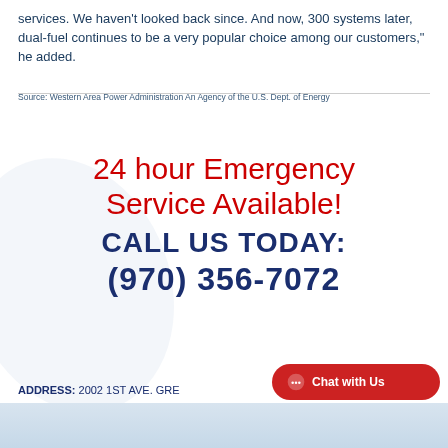services. We haven't looked back since. And now, 300 systems later, dual-fuel continues to be a very popular choice among our customers," he added.
Source: Western Area Power Administration An Agency of the U.S. Dept. of Energy
24 hour Emergency Service Available!
CALL US TODAY:
(970) 356-7072
ADDRESS: 2002 1ST AVE. GRE...
Chat with Us